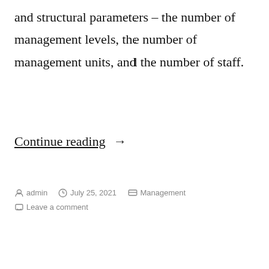and structural parameters – the number of management levels, the number of management units, and the number of staff.
Continue reading →
Posted by admin   July 25, 2021   Management   Leave a comment